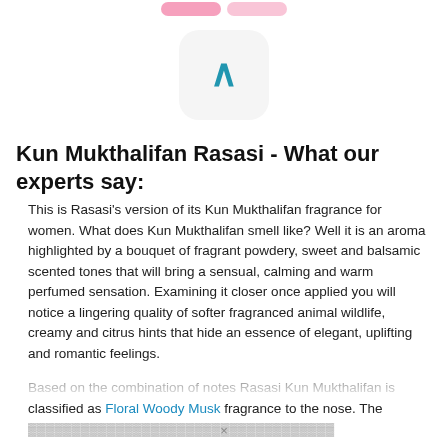[Figure (logo): App icon/logo with a caret (^) symbol in teal/blue on a light gray rounded square background]
Kun Mukthalifan Rasasi - What our experts say:
This is Rasasi's version of its Kun Mukthalifan fragrance for women. What does Kun Mukthalifan smell like? Well it is an aroma highlighted by a bouquet of fragrant powdery, sweet and balsamic scented tones that will bring a sensual, calming and warm perfumed sensation. Examining it closer once applied you will notice a lingering quality of softer fragranced animal wildlife, creamy and citrus hints that hide an essence of elegant, uplifting and romantic feelings.
Based on the combination of notes Rasasi Kun Mukthalifan is classified as Floral Woody Musk fragrance to the nose. The ...